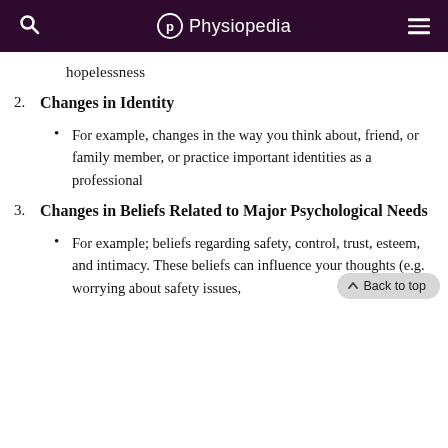Physiopedia
hopelessness
2. Changes in Identity
For example, changes in the way you think about, friend, or family member, or practice important identities as a professional
3. Changes in Beliefs Related to Major Psychological Needs
For example; beliefs regarding safety, control, trust, esteem, and intimacy. These beliefs can influence your thoughts (e.g. worrying about safety issues,